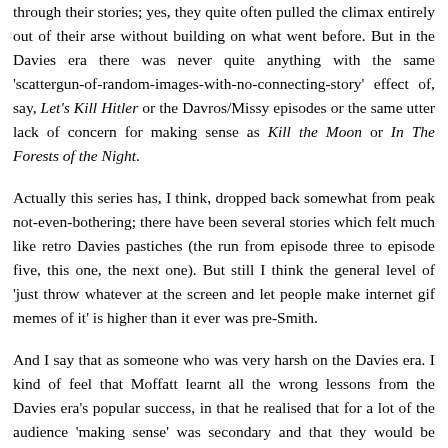through their stories; yes, they quite often pulled the climax entirely out of their arse without building on what went before. But in the Davies era there was never quite anything with the same 'scattergun-of-random-images-with-no-connecting-story' effect of, say, Let's Kill Hitler or the Davros/Missy episodes or the same utter lack of concern for making sense as Kill the Moon or In The Forests of the Night.
Actually this series has, I think, dropped back somewhat from peak not-even-bothering; there have been several stories which felt much like retro Davies pastiches (the run from episode three to episode five, this one, the next one). But still I think the general level of 'just throw whatever at the screen and let people make internet gif memes of it' is higher than it ever was pre-Smith.
And I say that as someone who was very harsh on the Davies era. I kind of feel that Moffatt learnt all the wrong lessons from the Davies era's popular success, in that he realised that for a lot of the audience 'making sense' was secondary and that they would be perfectly happy with